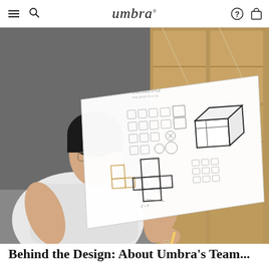umbra®
[Figure (photo): A person viewed from above and behind, holding and examining a large white sheet of paper with product design sketches and technical drawings of modular furniture or storage components. The person has dark hair, wears glasses and a white t-shirt, and is holding a pencil. The background shows cardboard boxes in a warehouse setting.]
Behind the Design: About Umbra's Team...